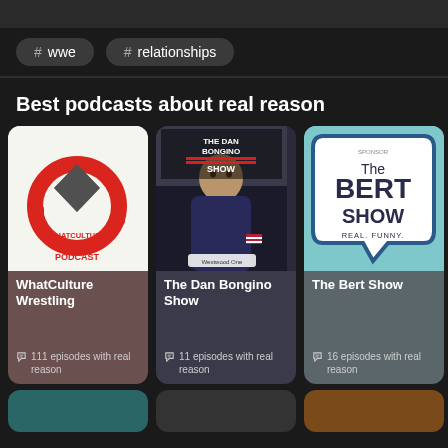# wwe
# relationships
Best podcasts about real reason
[Figure (screenshot): WhatCulture Wrestling Podcast logo - red headphones with geometric shape, text WHATCULTURE WRESTLING PODCAST]
WhatCulture Wrestling
111 episodes with real reason
[Figure (screenshot): The Dan Bongino Show - photo of Dan Bongino in navy shirt with Westwood One branding]
The Dan Bongino Show
11 episodes with real reason
[Figure (screenshot): The Bert Show logo - teal speech bubble with THE BERT SHOW text and REAL. FUNNY. tagline]
The Bert Show
16 episodes with real reason